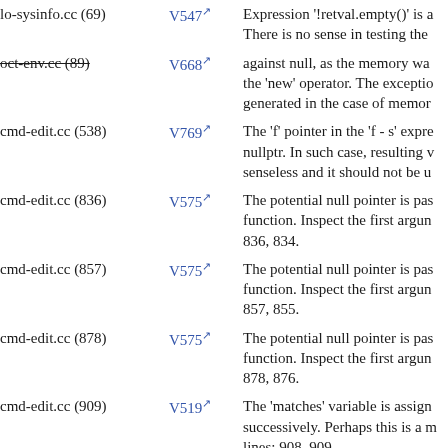| File | Code | Description |
| --- | --- | --- |
| lo-sysinfo.cc (69) | V547 | Expression '!retval.empty()' is a... There is no sense in testing the... |
| oct-env.cc (89) | V668 | against null, as the memory wa... the 'new' operator. The exceptio... generated in the case of memor... |
| cmd-edit.cc (538) | V769 | The 'f' pointer in the 'f - s' expre... nullptr. In such case, resulting v... senseless and it should not be u... |
| cmd-edit.cc (836) | V575 | The potential null pointer is pas... function. Inspect the first argun... 836, 834. |
| cmd-edit.cc (857) | V575 | The potential null pointer is pas... function. Inspect the first argun... 857, 855. |
| cmd-edit.cc (878) | V575 | The potential null pointer is pas... function. Inspect the first argun... 878, 876. |
| cmd-edit.cc (909) | V519 | The 'matches' variable is assign... successively. Perhaps this is a m... lines: 908, 909. |
| cmd-edit.cc (1729) | V547 | Expression 'c == 'A is always tr... |
| cmd-edit.cc (1844) | V601 | The integer type is implicitly ca... type. |
| cmd-edit.cc (?) | ? | Be advised that the utilized con... |